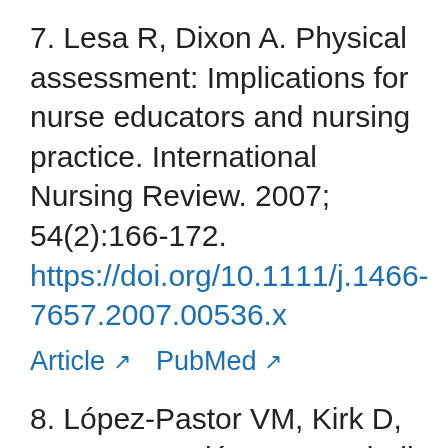7. Lesa R, Dixon A. Physical assessment: Implications for nurse educators and nursing practice. International Nursing Review. 2007; 54(2):166-172. https://doi.org/10.1111/j.1466-7657.2007.00536.x
Article  PubMed
8. López-Pastor VM, Kirk D, Lorente-Catalán E, MacPhail A, Macdonald D. Alternative assessment in physical educa...